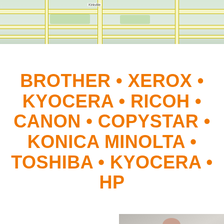[Figure (map): Partial map screenshot showing street map with green areas, yellow roads, and a label reading 'Kirkville']
BROTHER • XEROX • KYOCERA • RICOH • CANON • COPYSTAR • KONICA MINOLTA • TOSHIBA • KYOCERA • HP
ARE YOU
READY FOR
[Figure (photo): Person in business suit and tie, cropped from neck/shoulders down]